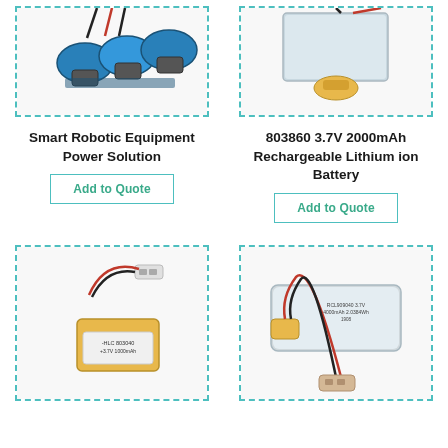[Figure (photo): Photo of a blue smart robotic equipment power solution battery pack with wires]
[Figure (photo): Photo of a flat rectangular 803860 3.7V 2000mAh rechargeable lithium ion battery with red and black wires]
Smart Robotic Equipment Power Solution
803860 3.7V 2000mAh Rechargeable Lithium ion Battery
Add to Quote
Add to Quote
[Figure (photo): Photo of a small yellow lithium polymer battery labeled HLC 803040 3.7V 1000mAh with red and black wires and white connector]
[Figure (photo): Photo of a silver rectangular lithium ion battery labeled RCL909040 3.7V 4000mAh 2.0384Wh with red and black wires and beige connector]